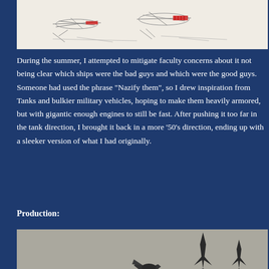[Figure (illustration): Pencil sketch/concept drawings of spacecraft designs, with red markings indicating enemy ship features]
During the summer, I attempted to mitigate faculty concerns about it not being clear which ships were the bad guys and which were the good guys. Someone had used the phrase “Nazify them”, so I drew inspiration from Tanks and bulkier military vehicles, hoping to make them heavily armored, but with gigantic enough engines to still be fast. After pushing it too far in the tank direction, I brought it back in a more ’50’s direction, ending up with a sleeker version of what I had originally.
Production:
[Figure (illustration): Silhouette illustrations of spacecraft designs shown against a grey background, depicting sleek pointed ships]